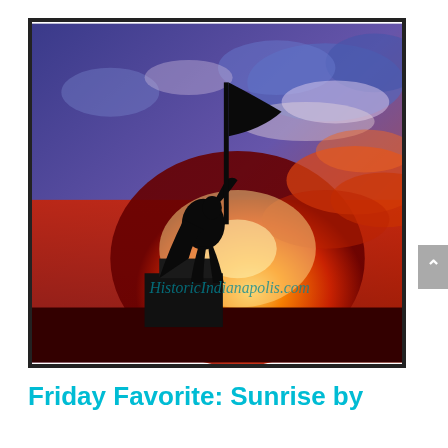[Figure (photo): A dramatic silhouette of a soldier statue holding a flag raised high, standing on a pedestal, photographed against a vivid sunset sky with orange, red, purple, and blue clouds. A watermark reads 'HistoricIndianapolis.com' overlaid on the photo.]
Friday Favorite: Sunrise by